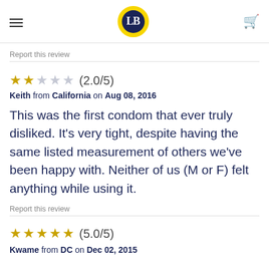LB logo, hamburger menu, cart icon
nothings there. It doesn't fall out or slipe out. Great product.
Report this review
★★☆☆☆ (2.0/5)
Keith from California on Aug 08, 2016
This was the first condom that ever truly disliked. It's very tight, despite having the same listed measurement of others we've been happy with. Neither of us (M or F) felt anything while using it.
Report this review
★★★★★ (5.0/5)
Kwame from DC on Dec 02, 2015